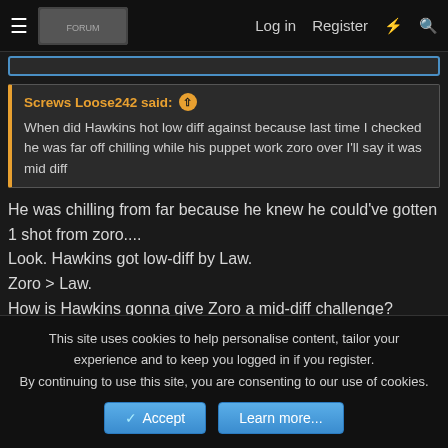≡  [logo]  Log in  Register  ⚡  🔍
Screws Loose242 said: ↑
When did Hawkins hot low diff against because last time I checked he was far off chilling while his puppet work zoro over I'll say it was mid diff
He was chilling from far because he knew he could've gotten 1 shot from zoro....
Look. Hawkins got low-diff by Law.
Zoro > Law.
How is Hawkins gonna give Zoro a mid-diff challenge?
👍 Fenaker and Zoro the badass god
This site uses cookies to help personalise content, tailor your experience and to keep you logged in if you register.
By continuing to use this site, you are consenting to our use of cookies.